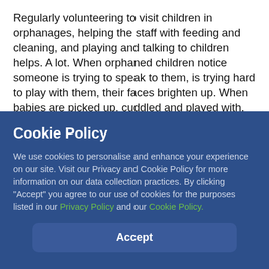Regularly volunteering to visit children in orphanages, helping the staff with feeding and cleaning, and playing and talking to children helps. A lot. When orphaned children notice someone is trying to speak to them, is trying hard to play with them, their faces brighten up. When babies are picked up, cuddled and played with, they stop crying. Orphaned children feel happy there is someone coming to see them and play with them.

Many of the children have serious diseases or
Cookie Policy
We use cookies to personalise and enhance your experience on our site. Visit our Privacy and Cookie Policy for more information on our data collection practices. By clicking "Accept" you agree to our use of cookies for the purposes listed in our Privacy Policy and our Cookie Policy.
Accept